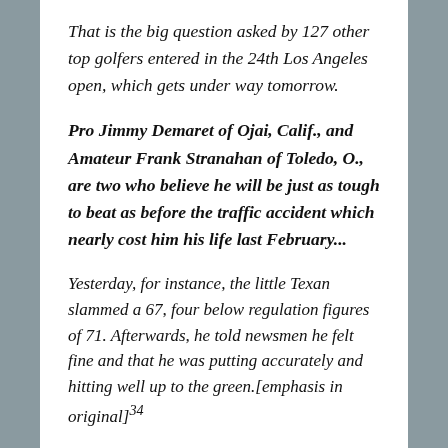That is the big question asked by 127 other top golfers entered in the 24th Los Angeles open, which gets under way tomorrow.
Pro Jimmy Demaret of Ojai, Calif., and Amateur Frank Stranahan of Toledo, O., are two who believe he will be just as tough to beat as before the traffic accident which nearly cost him his life last February...
Yesterday, for instance, the little Texan slammed a 67, four below regulation figures of 71. Afterwards, he told newsmen he felt fine and that he was putting accurately and hitting well up to the green.[emphasis in original]^34